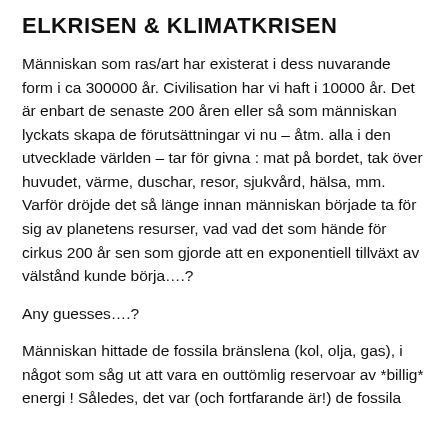ELKRISEN & KLIMATKRISEN
Människan som ras/art har existerat i dess nuvarande form i ca 300000 år. Civilisation har vi haft i 10000 år. Det är enbart de senaste 200 åren eller så som människan lyckats skapa de förutsättningar vi nu – åtm. alla i den utvecklade världen – tar för givna : mat på bordet, tak över huvudet, värme, duschar, resor, sjukvård, hälsa, mm. Varför dröjde det så länge innan människan började ta för sig av planetens resurser, vad vad det som hände för cirkus 200 år sen som gjorde att en exponentiell tillväxt av välstånd kunde börja….?
Any guesses….?
Människan hittade de fossila bränslena (kol, olja, gas), i något som såg ut att vara en outtömlig reservoar av *billig* energi ! Således, det var (och fortfarande är!) de fossila